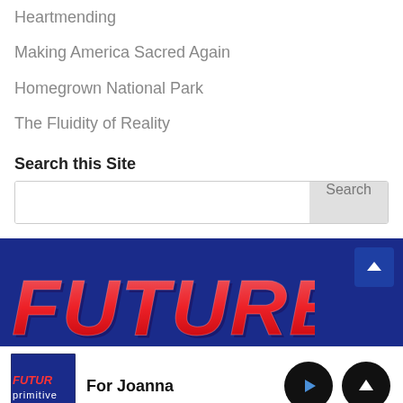Heartmending
Making America Sacred Again
Homegrown National Park
The Fluidity of Reality
Search this Site
[Figure (screenshot): Search bar with text input and Search button]
[Figure (photo): Blue background banner with red stylized FUTURE text logo]
For Joanna